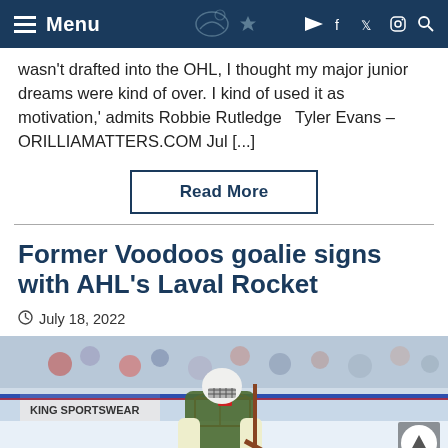Menu
wasn't drafted into the OHL, I thought my major junior dreams were kind of over. I kind of used it as motivation,' admits Robbie Rutledge   Tyler Evans – ORILLIAMATTERS.COM Jul [...]
Read More
Former Voodoos goalie signs with AHL's Laval Rocket
July 18, 2022
[Figure (photo): Hockey goalie in green jersey wearing helmet and pads, standing in front of net at an ice rink. King Sportswear advertisement visible on boards. Spectators in background.]